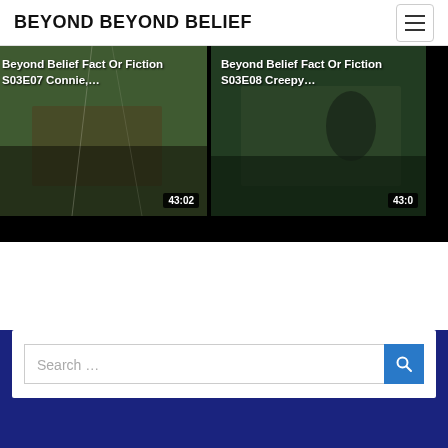BEYOND BEYOND BELIEF
[Figure (screenshot): Two video thumbnails side by side on a black background. Left: 'Beyond Belief Fact Or Fiction S03E07 Connie,...' with duration 43:02. Right: 'Beyond Belief Fact Or Fiction S03E08 Creepy...' with duration 43:0 (partially visible).]
[Figure (screenshot): Search bar with placeholder text 'Search ...' and a blue search button with magnifying glass icon, on a dark navy blue background.]